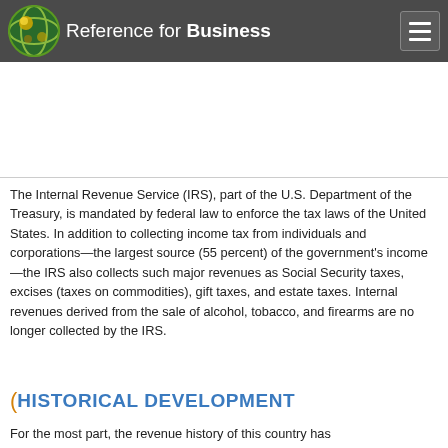Reference for Business
The Internal Revenue Service (IRS), part of the U.S. Department of the Treasury, is mandated by federal law to enforce the tax laws of the United States. In addition to collecting income tax from individuals and corporations—the largest source (55 percent) of the government's income—the IRS also collects such major revenues as Social Security taxes, excises (taxes on commodities), gift taxes, and estate taxes. Internal revenues derived from the sale of alcohol, tobacco, and firearms are no longer collected by the IRS.
HISTORICAL DEVELOPMENT
For the most part, the revenue history of this country has